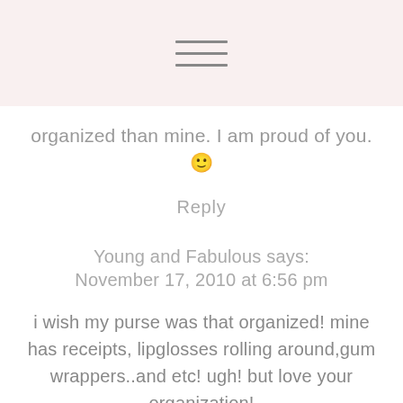[Figure (other): Hamburger menu icon with three horizontal lines]
organized than mine. I am proud of you. 🙂
Reply
Young and Fabulous says:
November 17, 2010 at 6:56 pm
i wish my purse was that organized! mine has receipts, lipglosses rolling around,gum wrappers..and etc! ugh! but love your organization!